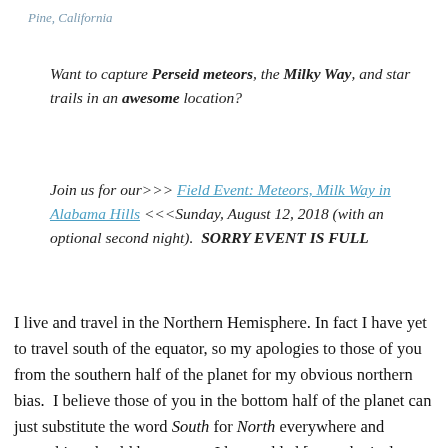Pine, California
Want to capture Perseid meteors, the Milky Way, and star trails in an awesome location?
Join us for our>>> Field Event: Meteors, Milk Way in Alabama Hills <<<Sunday, August 12, 2018 (with an optional second night).  SORRY EVENT IS FULL
I live and travel in the Northern Hemisphere. In fact I have yet to travel south of the equator, so my apologies to those of you from the southern half of the planet for my obvious northern bias.  I believe those of you in the bottom half of the planet can just substitute the word South for North everywhere and everything should be correct.  I have added [parenthetical content for those who are in the southern hemisphere where that north/south swap doesn't work]